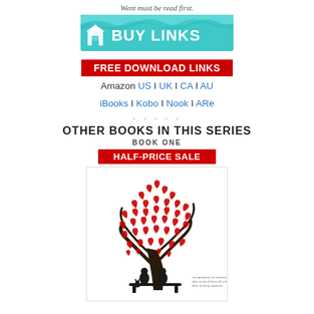Went must be read first.
[Figure (logo): BUY LINKS logo banner with teal/blue wave background and house icon]
FREE DOWNLOAD LINKS
Amazon US | UK | CA | AU
iBooks | Kobo | Nook | ARe
- - - - -
OTHER BOOKS IN THIS SERIES
BOOK ONE
HALF-PRICE SALE
[Figure (illustration): Book cover showing a tree with red heart-shaped leaves and silhouette of two people sitting on a bench underneath]